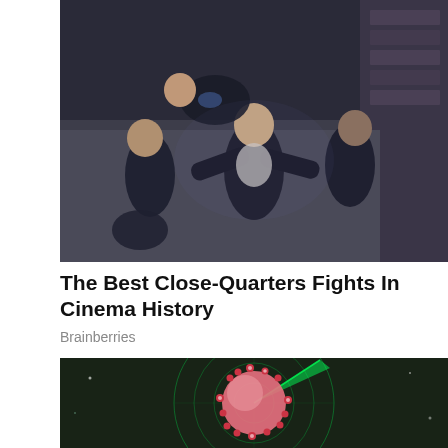[Figure (photo): Photo of people in dark clothing in a close-quarters fight scene, viewed from above]
The Best Close-Quarters Fights In Cinema History
Brainberries
[Figure (photo): 3D illustration of a coronavirus particle on a dark background with green radar/targeting overlay circles]